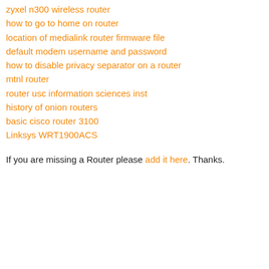zyxel n300 wireless router
how to go to home on router
location of medialink router firmware file
default modem username and password
how to disable privacy separator on a router
mtnl router
router usc information sciences inst
history of onion routers
basic cisco router 3100
Linksys WRT1900ACS
If you are missing a Router please add it here. Thanks.